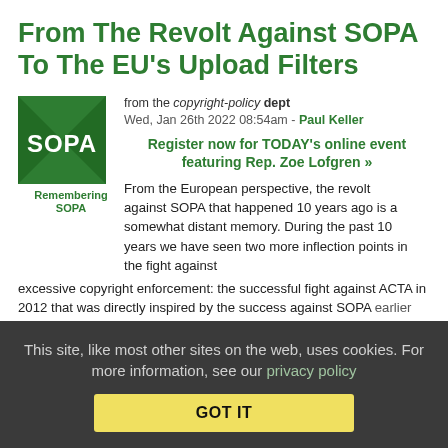From The Revolt Against SOPA To The EU's Upload Filters
from the copyright-policy dept
Wed, Jan 26th 2022 08:54am - Paul Keller
[Figure (illustration): Green square logo with SOPA text and X pattern, captioned 'Remembering SOPA']
Register now for TODAY's online event featuring Rep. Zoe Lofgren »
From the European perspective, the revolt against SOPA that happened 10 years ago is a somewhat distant memory. During the past 10 years we have seen two more inflection points in the fight against excessive copyright enforcement: the successful fight against ACTA in 2012 that was directly inspired by the success against SOPA earlier that year and — much more recently — the fight against
This site, like most other sites on the web, uses cookies. For more information, see our privacy policy
GOT IT